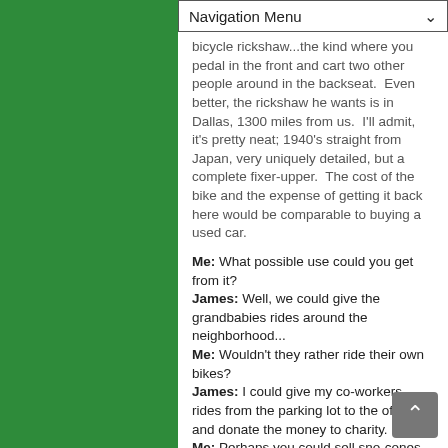Navigation Menu
bicycle rickshaw...the kind where you pedal in the front and cart two other people around in the backseat.  Even better, the rickshaw he wants is in Dallas, 1300 miles from us.  I'll admit, it's pretty neat; 1940's straight from Japan, very uniquely detailed, but a complete fixer-upper.  The cost of the bike and the expense of getting it back here would be comparable to buying a used car.
Me: What possible use could you get from it?
James: Well, we could give the grandbabies rides around the neighborhood...
Me: Wouldn't they rather ride their own bikes?
James: I could give my co-workers rides from the parking lot to the office, and donate the money to charity.
Me: Perhaps you could sell sno-cones instead? So how about at the lake?